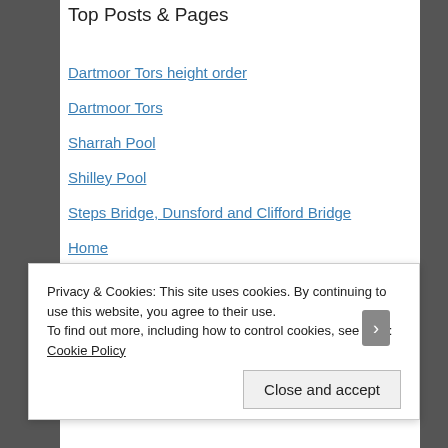Top Posts & Pages
Dartmoor Tors height order
Dartmoor Tors
Sharrah Pool
Shilley Pool
Steps Bridge, Dunsford and Clifford Bridge
Home
Yoke, Ill Bell and Froswick
Laughter Hole Stepping Stones
Seaton to Looe
Favourite Tors and places on Dartmoor
Privacy & Cookies: This site uses cookies. By continuing to use this website, you agree to their use.
To find out more, including how to control cookies, see here: Cookie Policy
Close and accept